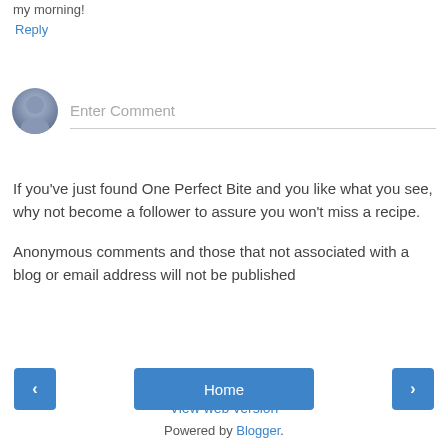my morning!
Reply
[Figure (illustration): Blogger comment input area with a grey avatar icon on the left and an 'Enter Comment' placeholder text field with a bottom border line on the right]
If you've just found One Perfect Bite and you like what you see, why not become a follower to assure you won't miss a recipe.
Anonymous comments and those that not associated with a blog or email address will not be published
[Figure (screenshot): Navigation bar with three buttons: left arrow button, Home button in the center, and right arrow button]
View web version
Powered by Blogger.